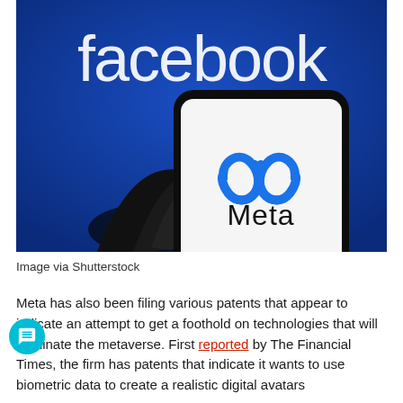[Figure (photo): A hand holding a smartphone displaying the Meta logo (blue infinity symbol above the word 'Meta') against a blue background with the word 'facebook' in large white letters.]
Image via Shutterstock
Meta has also been filing various patents that appear to indicate an attempt to get a foothold on technologies that will dominate the metaverse. First reported by The Financial Times, the firm has patents that indicate it wants to use biometric data to create a realistic digital avatars